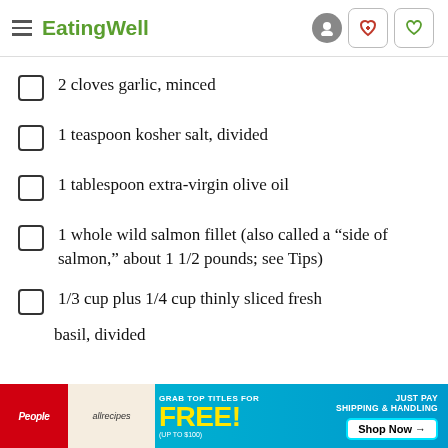EatingWell
2 cloves garlic, minced
1 teaspoon kosher salt, divided
1 tablespoon extra-virgin olive oil
1 whole wild salmon fillet (also called a “side of salmon,” about 1 1/2 pounds; see Tips)
1/3 cup plus 1/4 cup thinly sliced fresh basil, divided
[Figure (other): Advertisement banner: Grab top titles for FREE (up to $100), Just Pay Shipping & Handling, Shop Now button. Features People and allrecipes magazines.]